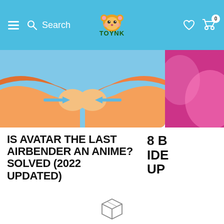TOYNK — Search
[Figure (screenshot): Anime-style illustration showing two characters doing a fist-bump with air arrows, blue and orange background]
[Figure (screenshot): Partial pink/magenta image on the right side, cropped]
IS AVATAR THE LAST AIRBENDER AN ANIME? SOLVED (2022 UPDATED)
8 B IDE UP
[Figure (illustration): Box/package icon (line drawing)]
FREE U.S. SHIPPING
Free shipping for every order, every day for the contiguous U.S.